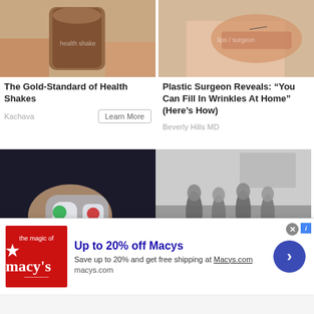[Figure (photo): Person holding a chocolate health shake drink]
The Gold-Standard of Health Shakes
Kachava
Learn More
[Figure (photo): Close-up of woman's lips with thread, plastic surgery concept]
Plastic Surgeon Reveals: “You Can Fill In Wrinkles At Home” (Here’s How)
Beverly Hills MD
[Figure (photo): Finger pressing buttons on a phone or device with green and red icons on dark background, infolinks ad]
[Figure (photo): Black and white vintage photo of group of people running outdoors near a house]
[Figure (screenshot): Macy's advertisement banner: Up to 20% off Macys, Save up to 20% and get free shipping at Macys.com, macys.com]